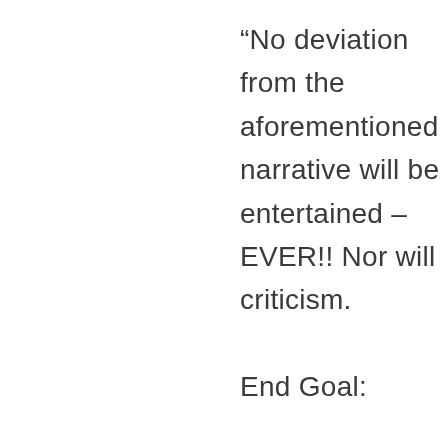“No deviation from the aforementioned narrative will be entertained – EVER!! Nor will criticism.

End Goal:

“While Communism as Marx...